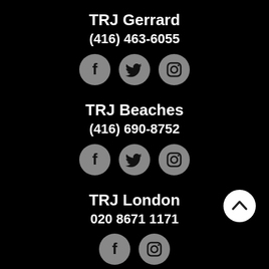TRJ Gerrard
(416) 463-6055
[Figure (infographic): Three social media icons: Facebook, Twitter, Instagram (grey circles on black background)]
TRJ Beaches
(416) 690-8752
[Figure (infographic): Three social media icons: Facebook, Twitter, Instagram (grey circles on black background)]
TRJ London
020 8671 1171
[Figure (infographic): Two social media icons: Facebook, Instagram (grey circles on black background), and a white back-to-top button circle with up chevron]